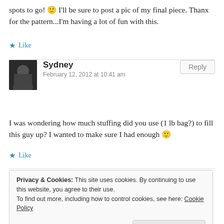spots to go! 🙂 I'll be sure to post a pic of my final piece. Thanx for the pattern...I'm having a lot of fun with this.
★ Like
Sydney
February 12, 2012 at 10:41 am
I was wondering how much stuffing did you use (1 lb bag?) to fill this guy up? I wanted to make sure I had enough 🙂
★ Like
Privacy & Cookies: This site uses cookies. By continuing to use this website, you agree to their use.
To find out more, including how to control cookies, see here: Cookie Policy
Close and accept